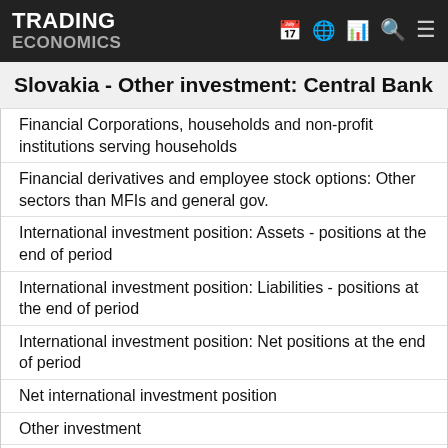TRADING ECONOMICS
Slovakia - Other investment: Central Bank
Financial Corporations, households and non-profit institutions serving households
Financial derivatives and employee stock options: Other sectors than MFIs and general gov.
International investment position: Assets - positions at the end of period
International investment position: Liabilities - positions at the end of period
International investment position: Net positions at the end of period
Net international investment position
Other investment
Other investment: Assets - positions at the end of period
Other investment: Central Bank
Other investment: Deposit-taking corporations except the central bank
Other investment: Financial Corporations other than MFIs